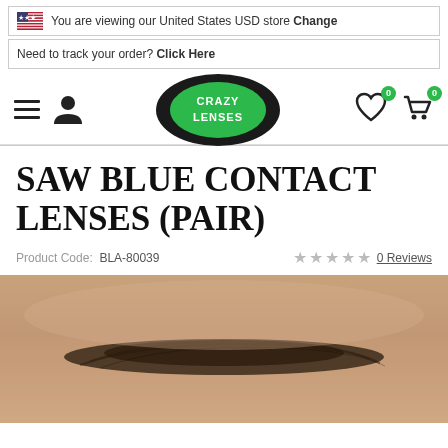You are viewing our United States USD store Change
Need to track your order? Click Here
[Figure (logo): Crazy Lenses logo — dark oval eye shape with green iris and white text 'CRAZY LENSES']
SAW BLUE CONTACT LENSES (PAIR)
Product Code: BLA-80039   ★★★★★ 0 Reviews
[Figure (photo): Close-up of a person's forehead and eyebrow area, skin tone visible, dark eyebrow hairs]